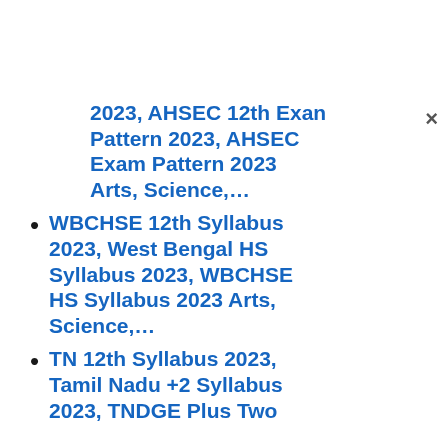2023, AHSEC 12th Exam Pattern 2023, AHSEC Exam Pattern 2023 Arts, Science,…
WBCHSE 12th Syllabus 2023, West Bengal HS Syllabus 2023, WBCHSE HS Syllabus 2023 Arts, Science,…
TN 12th Syllabus 2023, Tamil Nadu +2 Syllabus 2023, TNDGE Plus Two…